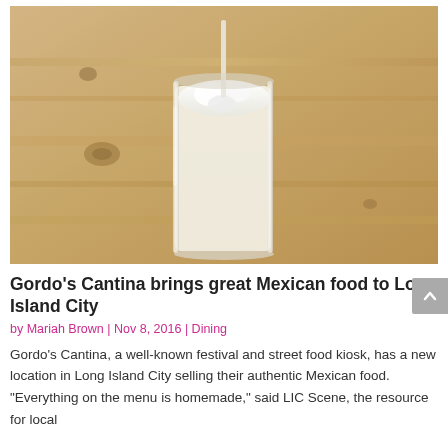[Figure (photo): A tall glass filled with a creamy white drink and ice, with a straw, sitting on a wooden surface. Top-down angled view.]
Gordo's Cantina brings great Mexican food to Long Island City
by Mariah Brown | Nov 8, 2016 | Dining
Gordo's Cantina, a well-known festival and street food kiosk, has a new location in Long Island City selling their authentic Mexican food. “Everything on the menu is homemade,” said LIC Scene, the resource for local